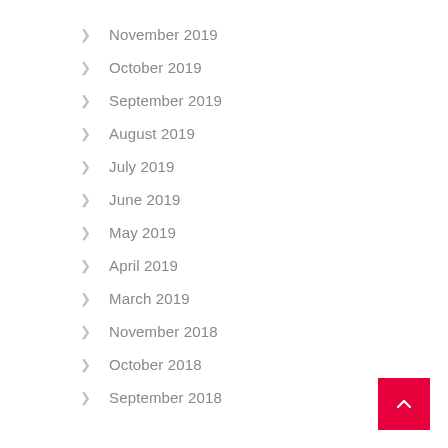November 2019
October 2019
September 2019
August 2019
July 2019
June 2019
May 2019
April 2019
March 2019
November 2018
October 2018
September 2018